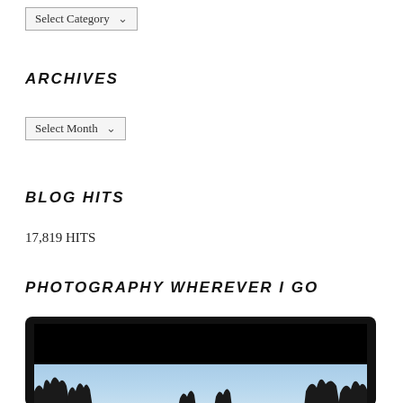Select Category (dropdown)
ARCHIVES
Select Month (dropdown)
BLOG HITS
17,819 HITS
PHOTOGRAPHY WHEREVER I GO
[Figure (photo): A photo widget showing a dark-framed photograph with a black top section and a blue sky with bare tree silhouettes at the bottom.]